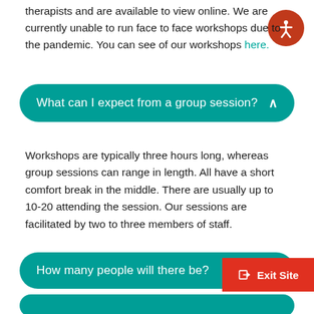therapists and are available to view online. We are currently unable to run face to face workshops due to the pandemic. You can see of our workshops here.
What can I expect from a group session? ^
Workshops are typically three hours long, whereas group sessions can range in length. All have a short comfort break in the middle. There are usually up to 10-20 attending the session. Our sessions are facilitated by two to three members of staff.
How many people will there be?